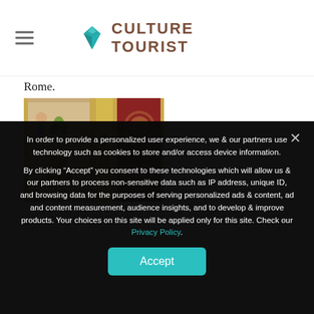Culture Tourist
Rome.
[Figure (photo): Decorative painted panels with ornate gold frames featuring classical motifs, urns, and medallions in a museum or palace setting.]
In order to provide a personalized user experience, we & our partners use technology such as cookies to store and/or access device information. By clicking “Accept” you consent to these technologies which will allow us & our partners to process non-sensitive data such as IP address, unique ID, and browsing data for the purposes of serving personalized ads & content, ad and content measurement, audience insights, and to develop & improve products. Your choices on this site will be applied only for this site. Check our Privacy Policy.